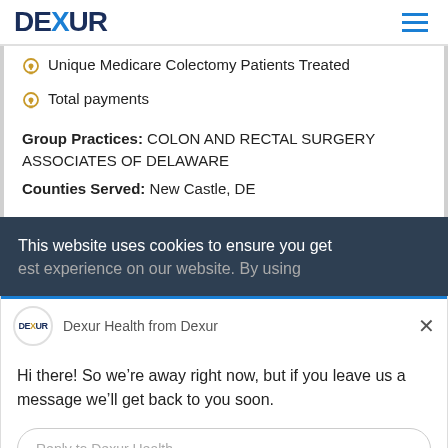DEXUR
Unique Medicare Colectomy Patients Treated
Total payments
Group Practices: COLON AND RECTAL SURGERY ASSOCIATES OF DELAWARE
Counties Served: New Castle, DE
This website uses cookies to ensure you get [best] experience on our website. By using...
Dexur Health from Dexur
Hi there! So we’re away right now, but if you leave us a message we’ll get back to you soon.
Reply to Dexur Health
Chat ⚡ by Drift